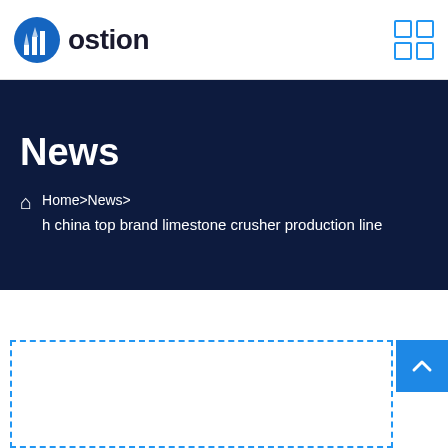ostion
News
Home>News> h china top brand limestone crusher production line
h china top brand limestone crusher production line
Leave Message  Chat Online